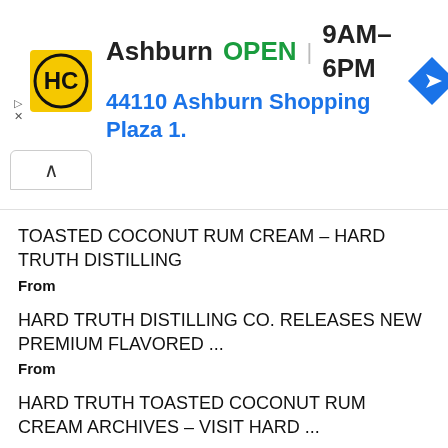[Figure (screenshot): Ad banner for HC (Honest-1 Auto Care or similar) showing Ashburn location, OPEN 9AM-6PM, 44110 Ashburn Shopping Plaza 1., with blue navigation/directions icon and yellow HC logo]
TOASTED COCONUT RUM CREAM – HARD TRUTH DISTILLING
From
HARD TRUTH DISTILLING CO. RELEASES NEW PREMIUM FLAVORED ...
From
HARD TRUTH TOASTED COCONUT RUM CREAM ARCHIVES – VISIT HARD ...
From